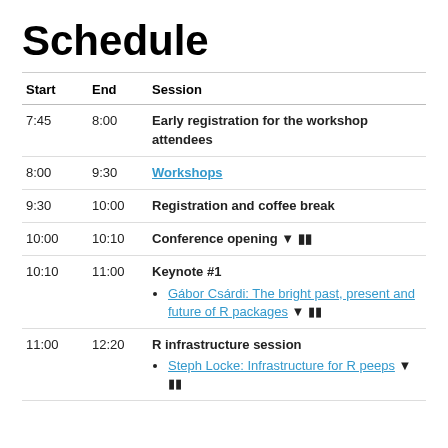Schedule
| Start | End | Session |
| --- | --- | --- |
| 7:45 | 8:00 | Early registration for the workshop attendees |
| 8:00 | 9:30 | Workshops |
| 9:30 | 10:00 | Registration and coffee break |
| 10:00 | 10:10 | Conference opening 🔽 🎬 |
| 10:10 | 11:00 | Keynote #1
• Gábor Csárdi: The bright past, present and future of R packages 🔽 🎬 |
| 11:00 | 12:20 | R infrastructure session
• Steph Locke: Infrastructure for R peeps 🔽 🎬 |